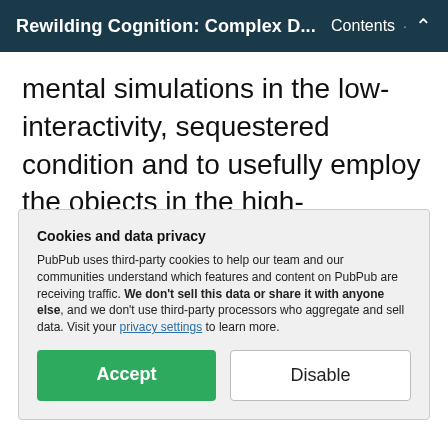Rewilding Cognition: Complex D... · Contents ↑
mental simulations in the low-interactivity, sequestered condition and to usefully employ the objects in the high-interactivity condition. Thus, the experimental manipulation and the experiment failed.
It would be possible, of course, to
Cookies and data privacy
PubPub uses third-party cookies to help our team and our communities understand which features and content on PubPub are receiving traffic. We don't sell this data or share it with anyone else, and we don't use third-party processors who aggregate and sell data. Visit your privacy settings to learn more.